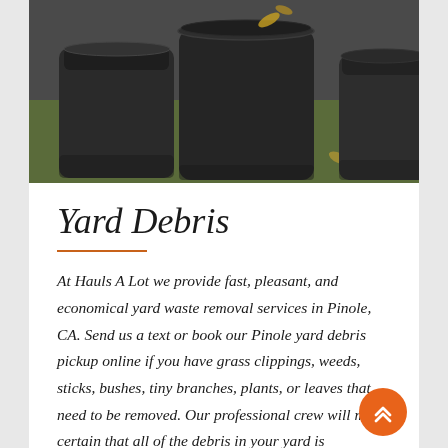[Figure (photo): Photograph of multiple large black trash/yard waste bins sitting on grass with fallen autumn leaves around them.]
Yard Debris
At Hauls A Lot we provide fast, pleasant, and economical yard waste removal services in Pinole, CA. Send us a text or book our Pinole yard debris pickup online if you have grass clippings, weeds, sticks, bushes, tiny branches, plants, or leaves that need to be removed. Our professional crew will make certain that all of the debris in your yard is